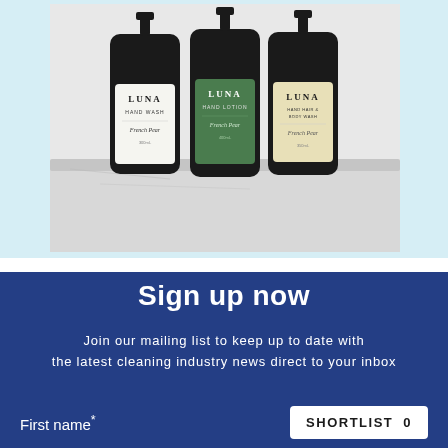[Figure (photo): Three dark glass pump bottles of LUNA brand products (Hand Wash, Hand Lotion, Hand Hair & Body Wash) in French Pear scent, displayed on a white marble surface against a light blue background.]
Sign up now
Join our mailing list to keep up to date with the latest cleaning industry news direct to your inbox
First name*
SHORTLIST 0